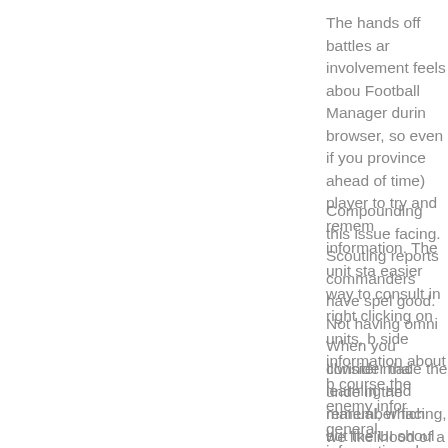The hands off battles ar involvement feels abou Football Manager durin browser, so even if you province ahead of time) player to try and remem information. The unit sta easier way to consult in right clicking on units, b side information about b course the enemy infor general information abo
Compounding this issue facing. Scouting reports commanders have spel good. Not having omni When you consider tha learning and remember facing, but the UI shoul
Illwinter made the unde in the manual, which we likelihood of a melee hi